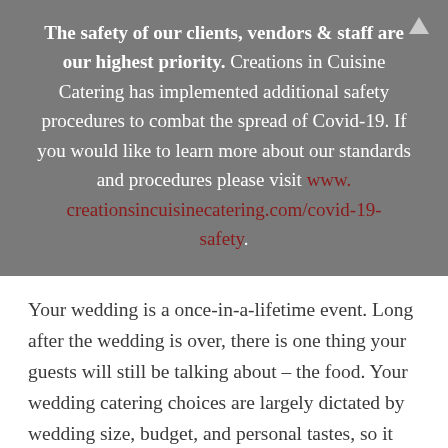The safety of our clients, vendors & staff are our highest priority. Creations in Cuisine Catering has implemented additional safety procedures to combat the spread of Covid-19. If you would like to learn more about our standards and procedures please visit www.creationsincuisinecatering.com/covid-19-safety.
Your wedding is a once-in-a-lifetime event. Long after the wedding is over, there is one thing your guests will still be talking about – the food. Your wedding catering choices are largely dictated by wedding size, budget, and personal tastes, so it makes sense to